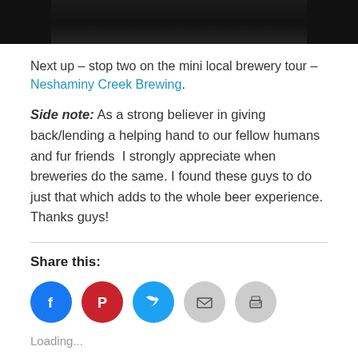[Figure (photo): Dark photo bar at the top of the page showing a dim scene]
Next up – stop two on the mini local brewery tour – Neshaminy Creek Brewing.
Side note: As a strong believer in giving back/lending a helping hand to our fellow humans and fur friends  I strongly appreciate when breweries do the same. I found these guys to do just that which adds to the whole beer experience. Thanks guys!
[Figure (infographic): Share buttons: Facebook (blue circle), Pinterest (red circle), Twitter (light blue circle), Email (grey circle), Print (grey circle)]
Share this:
Loading...